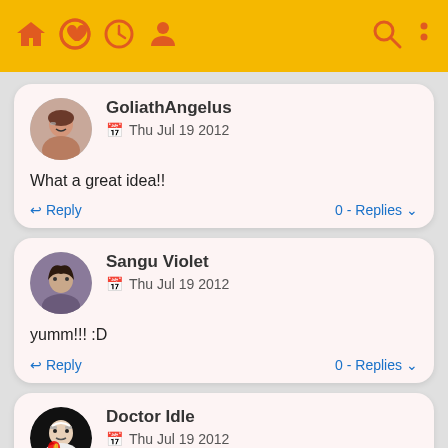[Figure (screenshot): Mobile app navigation bar with home, heart, clock, person icons on left and search, menu icons on right, yellow background with orange/red icons]
GoliathAngelus
Thu Jul 19 2012
What a great idea!!
Reply  0 - Replies
Sangu Violet
Thu Jul 19 2012
yumm!!! :D
Reply  0 - Replies
Doctor Idle
Thu Jul 19 2012
chef, every time i try to make the batter i always end up with thick lumps floating inside and flour sticking to